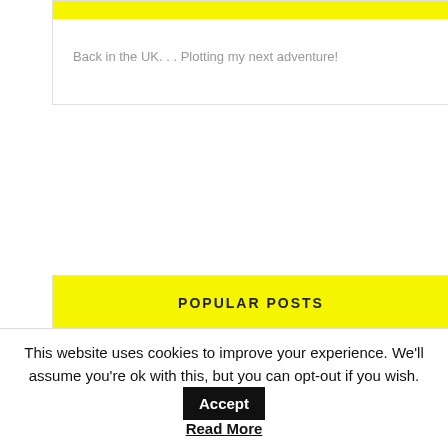Back in the UK. . . Plotting my next adventure!
POPULAR POSTS
The Best Wild Swimming Spots in Youlgreave, Peak District
Why Everyone Should Read The Midnight Library
This website uses cookies to improve your experience. We'll assume you're ok with this, but you can opt-out if you wish. Accept Read More